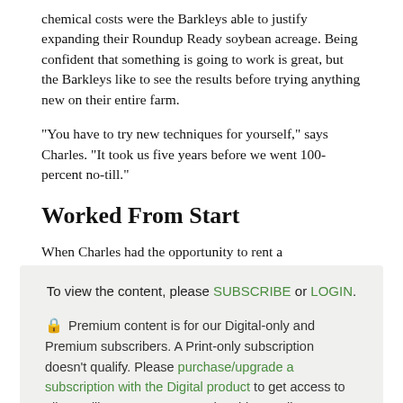chemical costs were the Barkleys able to justify expanding their Roundup Ready soybean acreage. Being confident that something is going to work is great, but the Barkleys like to see the results before trying anything new on their entire farm.
"You have to try new techniques for yourself," says Charles. "It took us five years before we went 100-percent no-till."
Worked From Start
When Charles had the opportunity to rent a neighboring…
To view the content, please SUBSCRIBE or LOGIN.
🔒 Premium content is for our Digital-only and Premium subscribers. A Print-only subscription doesn't qualify. Please purchase/upgrade a subscription with the Digital product to get access to all No-Till Farmer content and archives online. Learn more about the different versions